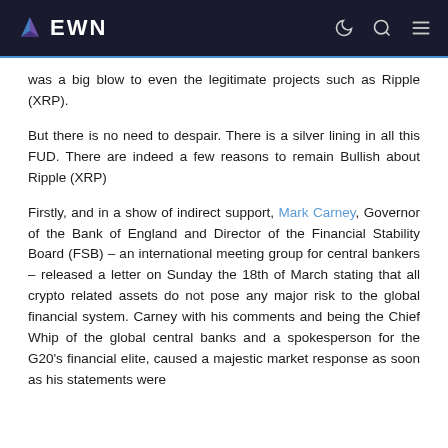EWN
was a big blow to even the legitimate projects such as Ripple (XRP).
But there is no need to despair. There is a silver lining in all this FUD. There are indeed a few reasons to remain Bullish about Ripple (XRP)
Firstly, and in a show of indirect support, Mark Carney, Governor of the Bank of England and Director of the Financial Stability Board (FSB) – an international meeting group for central bankers – released a letter on Sunday the 18th of March stating that all crypto related assets do not pose any major risk to the global financial system. Carney with his comments and being the Chief Whip of the global central banks and a spokesperson for the G20's financial elite, caused a majestic market response as soon as his statements were